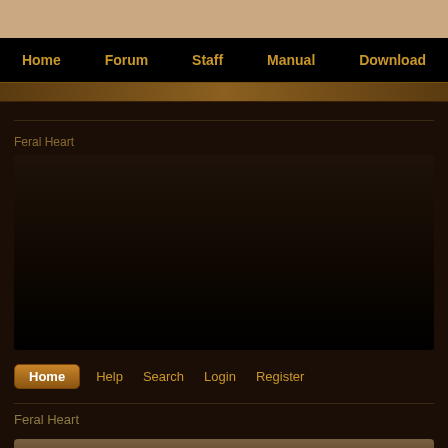Home  Forum  Staff  Manual  Download
Feral Heart
Home  Help  Search  Login  Register
Feral Heart
News & Official Information
News
All announcements for the game & forum.